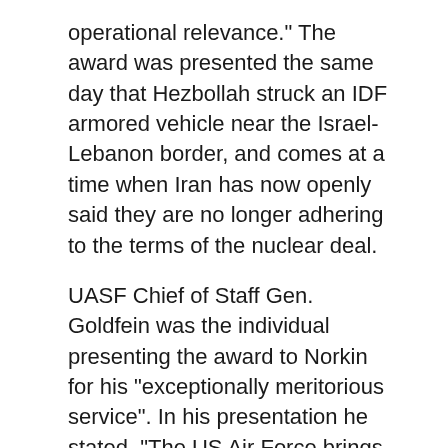operational relevance." The award was presented the same day that Hezbollah struck an IDF armored vehicle near the Israel-Lebanon border, and comes at a time when Iran has now openly said they are no longer adhering to the terms of the nuclear deal.
UASF Chief of Staff Gen. Goldfein was the individual presenting the award to Norkin for his "exceptionally meritorious service". In his presentation he stated, "The US Air Force brings with it a multitude of operational capabilities, while the Israeli Air Force brings speed, flexibility and operational experience. Combining forces leads to better security of both countries." There are at least four other IDF Chiefs of staff who have received this prestigious award.